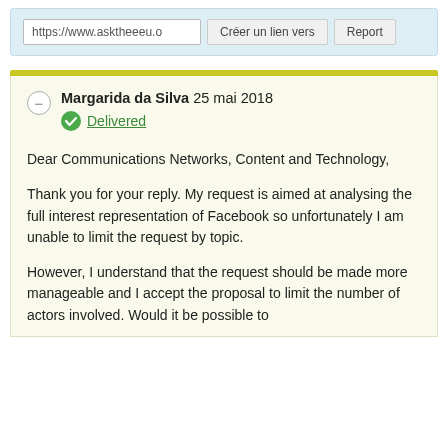[Figure (screenshot): Browser-like toolbar with URL field showing 'https://www.asktheeeu.o', a 'Créer un lien vers' button, and a 'Report' button on a light blue background]
Margarida da Silva 25 mai 2018
Delivered
Dear Communications Networks, Content and Technology,
Thank you for your reply. My request is aimed at analysing the full interest representation of Facebook so unfortunately I am unable to limit the request by topic.
However, I understand that the request should be made more manageable and I accept the proposal to limit the number of actors involved. Would it be possible to